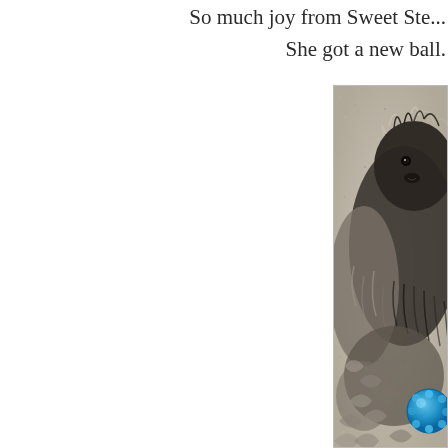So much joy from Sweet Ste... She got a new ball.
[Figure (photo): A fluffy black and grey puppy lying on a beige carpet, looking at the camera, with a bright blue spiky ball toy visible in the lower right corner. The photo is cropped showing primarily the dog's curly fur and face.]